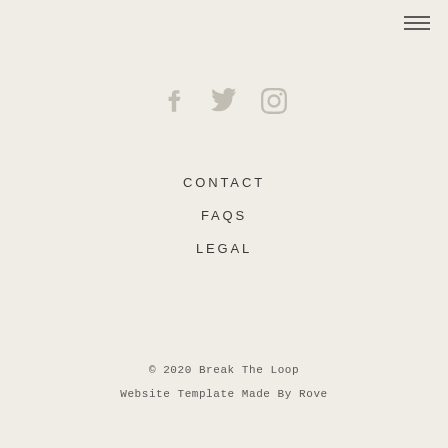[Figure (other): Hamburger menu icon (three horizontal lines) in top-right corner]
[Figure (other): Three social media icons: Facebook (f), Twitter (bird), Instagram (camera) centered near top]
CONTACT
FAQS
LEGAL
© 2020 Break The Loop
Website Template Made By Rove